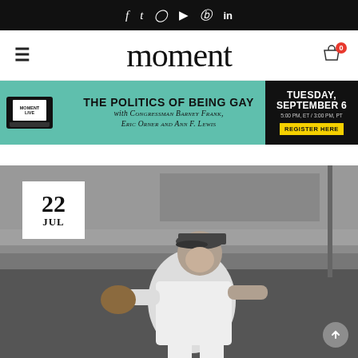f  t  Instagram  YouTube  Pinterest  in
moment
[Figure (infographic): Moment Live event banner: THE POLITICS OF BEING GAY with Congressman Barney Frank, Eric Orner and Ann F. Lewis. Tuesday, September 6, 5:00 PM, ET / 3:00 PM, PT. Register Here.]
[Figure (photo): Black and white photograph of a baseball player in a Dodgers uniform in fielding stance at a stadium. Date badge shows 22 JUL.]